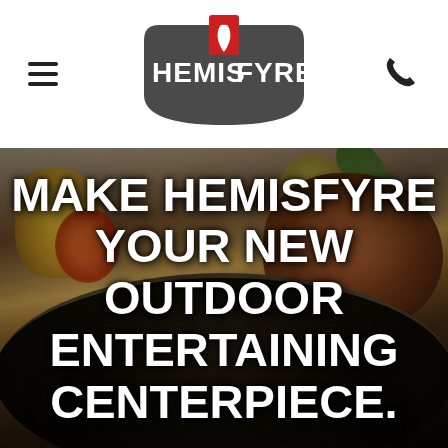HEMIS FYRE — navigation header with logo, hamburger menu, and phone icon
[Figure (photo): Overhead hero photo of a HemisFyre outdoor grill cooking steaks, vegetables (yellow squash, zucchini, tomatoes), and garnished with rosemary. The circular black cast-iron grill surface is visible with food sizzling on it. Smoke rises above the grill.]
MAKE HEMISFYRE YOUR NEW OUTDOOR ENTERTAINING CENTERPIECE.